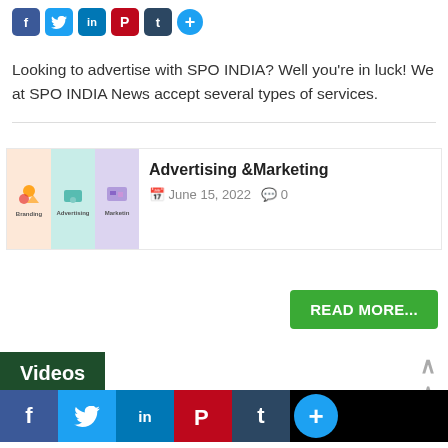[Figure (screenshot): Social media share icons: Facebook (blue), Twitter (blue), LinkedIn (blue), Pinterest (red), Tumblr (dark), and a plus button]
Looking to advertise with SPO INDIA? Well you're in luck! We at SPO INDIA News accept several types of services.
[Figure (illustration): Thumbnail image showing three panels: Branding, Advertising, and Marketing illustrations]
Advertising &Marketing
June 15, 2022   0
READ MORE...
Videos
[Figure (screenshot): Larger social media share icons row: Facebook, Twitter, LinkedIn, Pinterest, Tumblr, plus button]